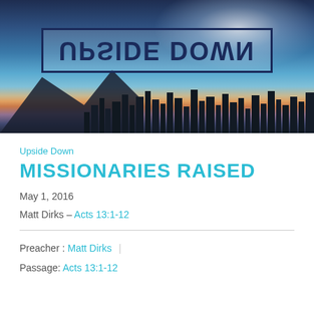[Figure (photo): Banner image showing an upside-down text 'UPSIDE DOWN' in a bordered box over a Hawaiian cityscape (Honolulu/Waikiki) at dusk with ocean, Diamond Head mountain, and city lights.]
Upside Down
MISSIONARIES RAISED
May 1, 2016
Matt Dirks – Acts 13:1-12
Preacher : Matt Dirks
Passage: Acts 13:1-12